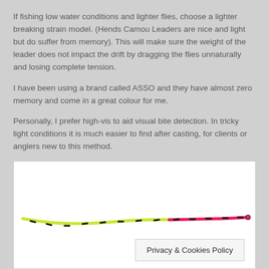If fishing low water conditions and lighter flies, choose a lighter breaking strain model. (Hends Camou Leaders are nice and light but do suffer from memory). This will make sure the weight of the leader does not impact the drift by dragging the flies unnaturally and losing complete tension.
I have been using a brand called ASSO and they have almost zero memory and come in a great colour for me.
Personally, I prefer high-vis to aid visual bite detection. In tricky light conditions it is much easier to find after casting, for clients or anglers new to this method.
[Figure (photo): A fishing leader line shown horizontally, yellow-green on the left transitioning to pink/red on the right, with black markings along its length, on a white background.]
Privacy & Cookies Policy